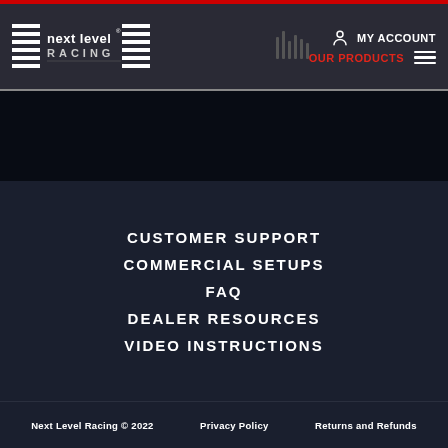[Figure (logo): Next Level Racing logo — white horizontal lines with 'next level racing' text]
MY ACCOUNT  OUR PRODUCTS
CUSTOMER SUPPORT
COMMERCIAL SETUPS
FAQ
DEALER RESOURCES
VIDEO INSTRUCTIONS
Next Level Racing © 2022  Privacy Policy  Returns and Refunds